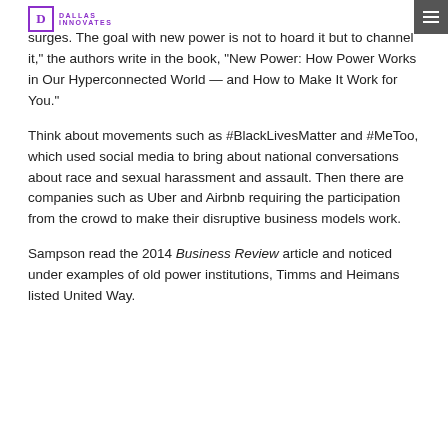Dallas Innovates
surges. The goal with new power is not to hoard it but to channel it,” the authors write in the book, “New Power: How Power Works in Our Hyperconnected World — and How to Make It Work for You.”
Think about movements such as #BlackLivesMatter and #MeToo, which used social media to bring about national conversations about race and sexual harassment and assault. Then there are companies such as Uber and Airbnb requiring the participation from the crowd to make their disruptive business models work.
Sampson read the 2014 Business Review article and noticed under examples of old power institutions, Timms and Heimans listed United Way.